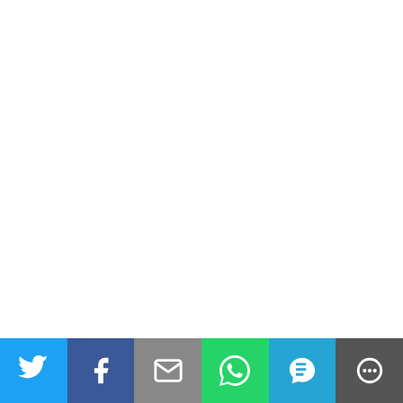question of why Hamlet hesitates to understand the relationship between Hamlet is mad. Suppose Shakespeare these questions. Is it obvious that interpretations that have been off author doesn't have answers about tell you why Hamlet hesitates. W

I agree that there are other interp work. But I don't think those are because there can be more than o literary theorist, but my understa interpretation of a literary text. In interpretations. Some interpretati multiple distinct interpretations t be used as an aid in literary analy that arise from the use of those id methods of interpretation inspired interpretations need to be evaluat Freud wouldn't be useful in inter interpreting certain horror movies psychoanalysis less as an empiric the mere fact that modern psycho whether Freud's ideas are useful i
Posted by: orfe | 05/07/2020 at 05:48 P
[Figure (infographic): Social sharing buttons bar: Twitter (blue), Facebook (dark blue), Email (grey), WhatsApp (green), SMS (light blue), More (dark grey)]